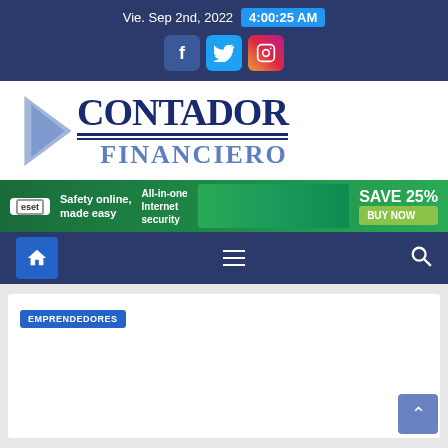Vie. Sep 2nd, 2022  4:00:25 AM
[Figure (logo): Contador Financiero logo with dark blue arrow shape and bold serif text]
[Figure (infographic): ESET advertisement banner: Safety online, made easy. All-in-one Internet security. SAVE 25% BUY NOW]
Navigation bar with home icon, hamburger menu, and search icon
EMPRENDEDORES